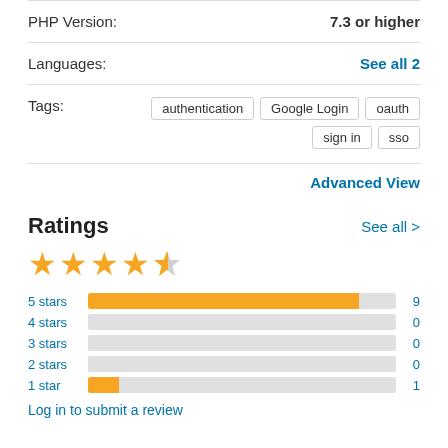| PHP Version: | 7.3 or higher |
| Languages: | See all 2 |
Tags: authentication  Google Login  oauth  sign in  sso
Advanced View
Ratings
[Figure (bar-chart): Ratings distribution]
Log in to submit a review